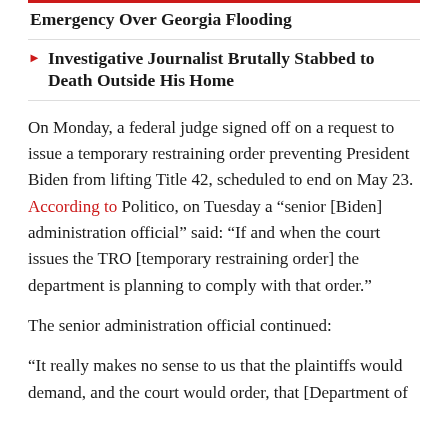Emergency Over Georgia Flooding
Investigative Journalist Brutally Stabbed to Death Outside His Home
On Monday, a federal judge signed off on a request to issue a temporary restraining order preventing President Biden from lifting Title 42, scheduled to end on May 23. According to Politico, on Tuesday a “senior [Biden] administration official” said: “If and when the court issues the TRO [temporary restraining order] the department is planning to comply with that order.”
The senior administration official continued:
“It really makes no sense to us that the plaintiffs would demand, and the court would order, that [Department of